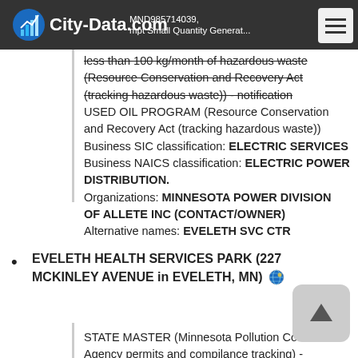City-Data.com | MND985714039, Exempt Small Quantity Generator less than 100 kg/month of hazardous waste
less than 100 kg/month of hazardous waste (Resource Conservation and Recovery Act (tracking hazardous waste)) - notification USED OIL PROGRAM (Resource Conservation and Recovery Act (tracking hazardous waste)) Business SIC classification: ELECTRIC SERVICES Business NAICS classification: ELECTRIC POWER DISTRIBUTION. Organizations: MINNESOTA POWER DIVISION OF ALLETE INC (CONTACT/OWNER) Alternative names: EVELETH SVC CTR
EVELETH HEALTH SERVICES PARK (227 MCKINLEY AVENUE in EVELETH, MN)
STATE MASTER (Minnesota Pollution Control Agency permits and compilance tracking) -